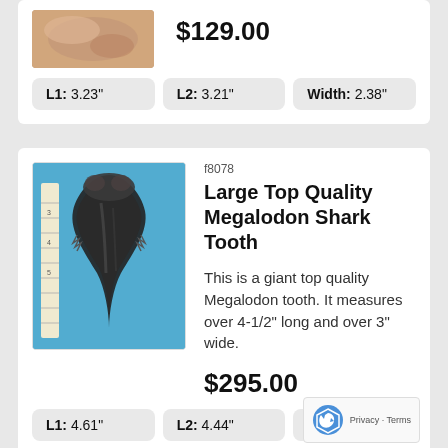[Figure (photo): Hand holding a megalodon shark tooth fossil]
$129.00
L1: 3.23"  L2: 3.21"  Width: 2.38"
[Figure (photo): Large black Megalodon shark tooth fossil on blue background with ruler]
f8078
Large Top Quality Megalodon Shark Tooth
This is a giant top quality Megalodon tooth. It measures over 4-1/2" long and over 3" wide.
$295.00
L1: 4.61"  L2: 4.44"  Width: 3.0